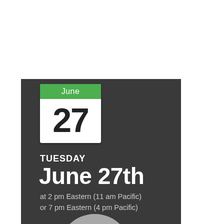[Figure (illustration): Calendar icon showing June 27 with a green header bar labeled 'June' and large bold '27' below on white background]
TUESDAY
June 27th
at 2 pm Eastern (11 am Pacific)
or 7 pm Eastern (4 pm Pacific)
[Figure (photo): Circular headshot photo of a man with dark brown hair, looking at the camera, gray background]